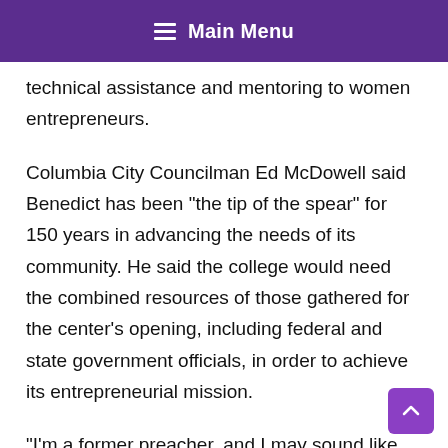Main Menu
technical assistance and mentoring to women entrepreneurs.
Columbia City Councilman Ed McDowell said Benedict has been “the tip of the spear” for 150 years in advancing the needs of its community. He said the college would need the combined resources of those gathered for the center’s opening, including federal and state government officials, in order to achieve its entrepreneurial mission.
“I’m a former preacher, and I may sound like I’m giving a sermon, so at the end of this I will be